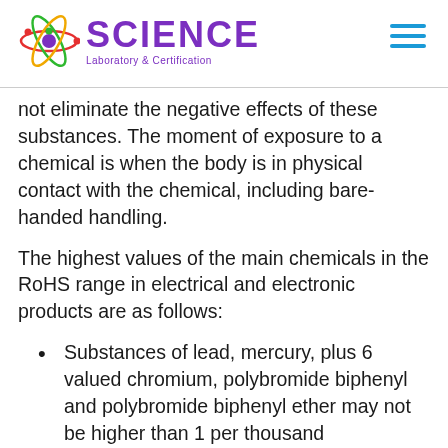SCIENCE Laboratory & Certification
not eliminate the negative effects of these substances. The moment of exposure to a chemical is when the body is in physical contact with the chemical, including bare-handed handling.
The highest values of the main chemicals in the RoHS range in electrical and electronic products are as follows:
Substances of lead, mercury, plus 6 valued chromium, polybromide biphenyl and polybromide biphenyl ether may not be higher than 1 per thousand